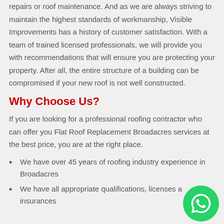repairs or roof maintenance. And as we are always striving to maintain the highest standards of workmanship, Visible Improvements has a history of customer satisfaction. With a team of trained licensed professionals, we will provide you with recommendations that will ensure you are protecting your property. After all, the entire structure of a building can be compromised if your new roof is not well constructed.
Why Choose Us?
If you are looking for a professional roofing contractor who can offer you Flat Roof Replacement Broadacres services at the best price, you are at the right place.
We have over 45 years of roofing industry experience in Broadacres
We have all appropriate qualifications, licenses and insurances